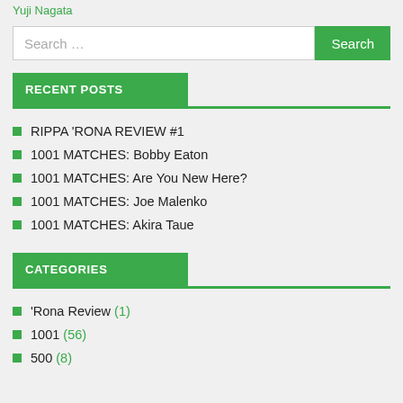Yuji Nagata
RECENT POSTS
RIPPA 'RONA REVIEW #1
1001 MATCHES: Bobby Eaton
1001 MATCHES: Are You New Here?
1001 MATCHES: Joe Malenko
1001 MATCHES: Akira Taue
CATEGORIES
'Rona Review (1)
1001 (56)
500 (8)